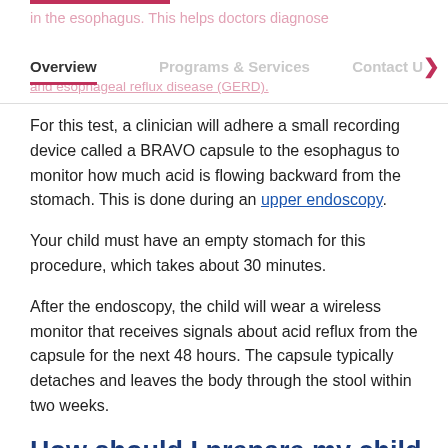Overview | Programs & Services | Contact
For this test, a clinician will adhere a small recording device called a BRAVO capsule to the esophagus to monitor how much acid is flowing backward from the stomach. This is done during an upper endoscopy.
Your child must have an empty stomach for this procedure, which takes about 30 minutes.
After the endoscopy, the child will wear a wireless monitor that receives signals about acid reflux from the capsule for the next 48 hours. The capsule typically detaches and leaves the body through the stool within two weeks.
How should I prepare my child for a BRAVO pH test?
A week before the test, contact your doctor and discuss what medications your child may need to take during the